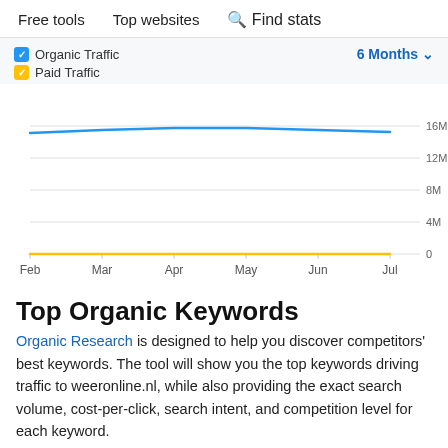Free tools   Top websites   Find stats
[Figure (line-chart): ]
Top Organic Keywords
Organic Research is designed to help you discover competitors' best keywords. The tool will show you the top keywords driving traffic to weeronline.nl, while also providing the exact search volume, cost-per-click, search intent, and competition level for each keyword.